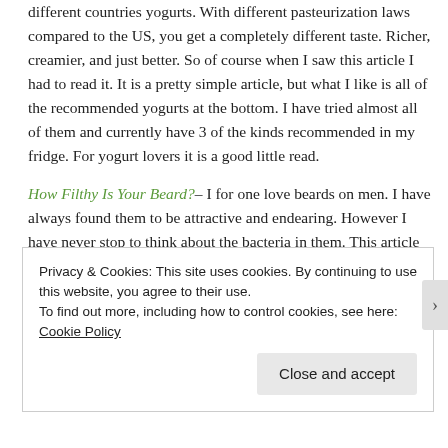different countries yogurts. With different pasteurization laws compared to the US, you get a completely different taste. Richer, creamier, and just better. So of course when I saw this article I had to read it. It is a pretty simple article, but what I like is all of the recommended yogurts at the bottom. I have tried almost all of them and currently have 3 of the kinds recommended in my fridge. For yogurt lovers it is a good little read.
How Filthy Is Your Beard?– I for one love beards on men. I have always found them to be attractive and endearing. However I have never stop to think about the bacteria in them. This article talks to just that. All in all, it sounds like mean might want to make sure they are spending extra time on cleaning the glorious facial hair. "Several of
Privacy & Cookies: This site uses cookies. By continuing to use this website, you agree to their use.
To find out more, including how to control cookies, see here: Cookie Policy
Close and accept